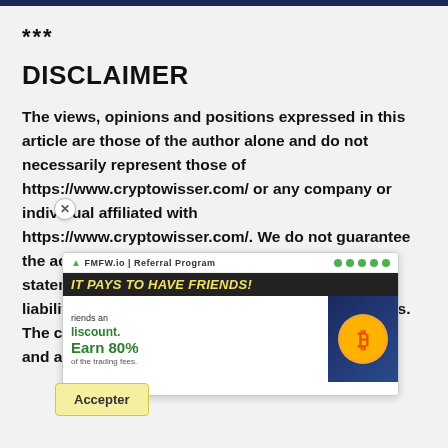***
DISCLAIMER
The views, opinions and positions expressed in this article are those of the author alone and do not necessarily represent those of https://www.cryptowisser.com/ or any company or individual affiliated with https://www.cryptowisser.com/. We do not guarantee the accuracy, completeness or validity of any statements made within this article. We accept no liability for any errors, omissions or representations. The copyright of this content belongs to the author and any liability with regards to infringement of intellectual property rights remains with li
[Figure (screenshot): Advertisement overlay for FMFW.io Referral Program: 'IT PAYS TO HAVE FRIENDS!' - Earn 80% of the trading fees, Give your friends a discount. Shows Bitcoin coin graphic on dark background. Has close button and Accepter button.]